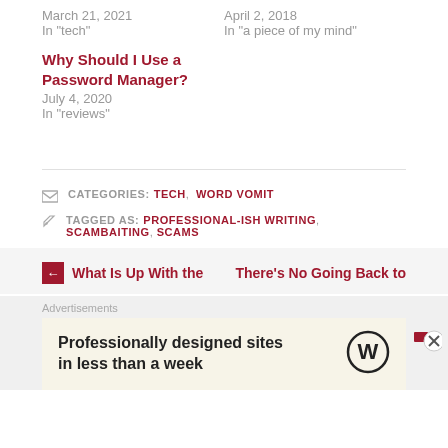March 21, 2021
In "tech"
April 2, 2018
In "a piece of my mind"
Why Should I Use a Password Manager?
July 4, 2020
In "reviews"
CATEGORIES: TECH, WORD VOMIT
TAGGED AS: PROFESSIONAL-ISH WRITING, SCAMBAITING, SCAMS
← What Is Up With the
There's No Going Back to
Advertisements
Professionally designed sites in less than a week